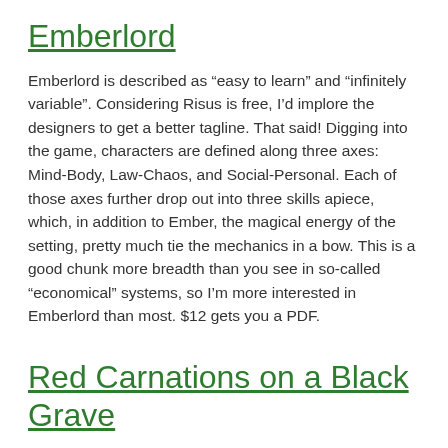Emberlord
Emberlord is described as “easy to learn” and “infinitely variable”. Considering Risus is free, I’d implore the designers to get a better tagline. That said! Digging into the game, characters are defined along three axes: Mind-Body, Law-Chaos, and Social-Personal. Each of those axes further drop out into three skills apiece, which, in addition to Ember, the magical energy of the setting, pretty much tie the mechanics in a bow. This is a good chunk more breadth than you see in so-called “economical” systems, so I’m more interested in Emberlord than most. $12 gets you a PDF.
Red Carnations on a Black Grave